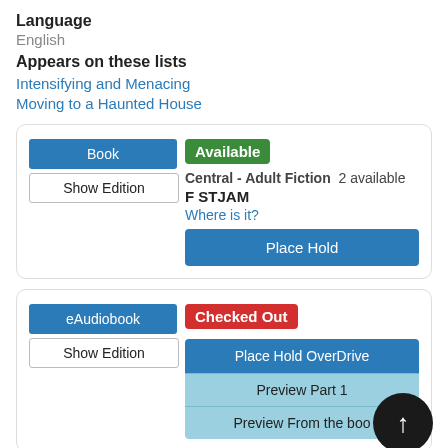Language
English
Appears on these lists
Intensifying and Menacing
Moving to a Haunted House
Book | Available | Central - Adult Fiction  2 available | F STJAM | Where is it? | Place Hold
eAudiobook | Checked Out | Place Hold OverDrive | Preview Part 1 | Preview From the boo...
Book | Available Online